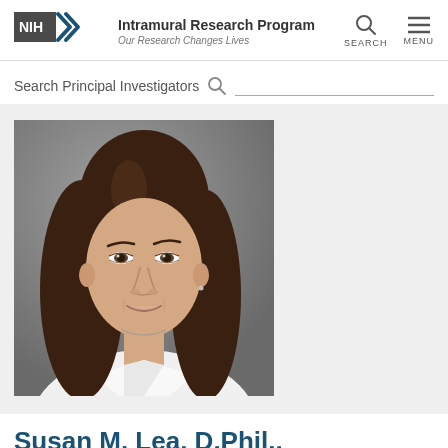NIH Intramural Research Program — Our Research Changes Lives
Search Principal Investigators
[Figure (photo): Professional headshot of Susan M. Lea, a woman with long brown hair wearing a white blouse, photographed against a gray background.]
Susan M. Lea, D.Phil.,